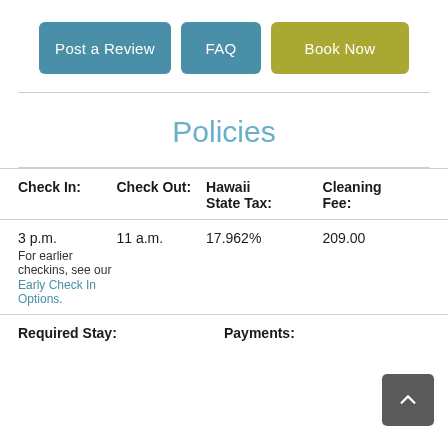[Figure (other): Three navigation buttons: 'Post a Review' (blue), 'FAQ' (blue), 'Book Now' (olive/yellow-green)]
Policies
| Check In: | Check Out: | Hawaii State Tax: | Cleaning Fee: |
| --- | --- | --- | --- |
| 3 p.m.
For earlier checkins, see our Early Check In Options. | 11 a.m. | 17.962% | 209.00 |
Required Stay:
Payments: